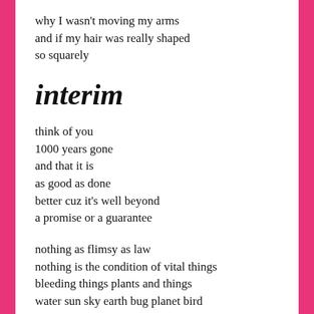why I wasn't moving my arms
and if my hair was really shaped
so squarely
interim
think of you
1000 years gone
and that it is
as good as done
better cuz it's well beyond
a promise or a guarantee
nothing as flimsy as law
nothing is the condition of vital things
bleeding things plants and things
water sun sky earth bug planet bird